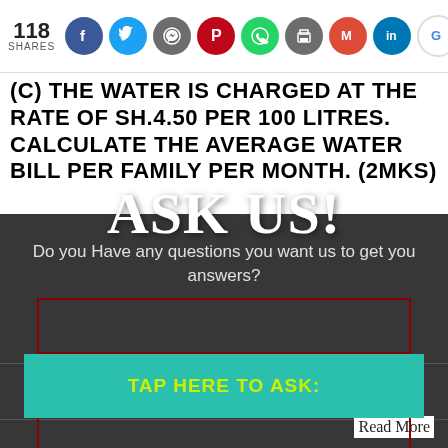118 SHARES
(C) THE WATER IS CHARGED AT THE RATE OF SH.4.50 PER 100 LITRES. CALCULATE THE AVERAGE WATER BILL PER FAMILY PER MONTH. (2MKS)
[Figure (screenshot): ASK US! popup overlay with text 'Do you Have any questions you want us to get you answers?', an input box, a teal TAP HERE TO ASK: button with yellow-green text, and a 'No Thanks!' link, overlaid on a dark background]
Read More